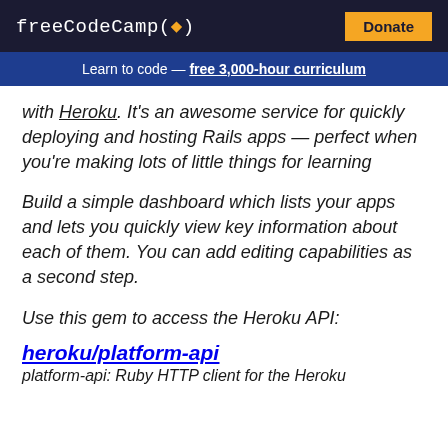freeCodeCamp(🔥) Donate
Learn to code — free 3,000-hour curriculum
with Heroku. It's an awesome service for quickly deploying and hosting Rails apps — perfect when you're making lots of little things for learning
Build a simple dashboard which lists your apps and lets you quickly view key information about each of them. You can add editing capabilities as a second step.
Use this gem to access the Heroku API:
heroku/platform-api
platform-api: Ruby HTTP client for the Heroku